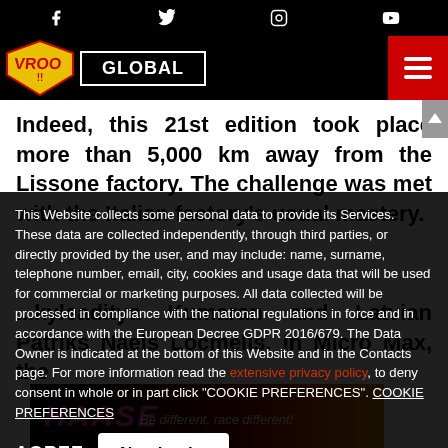Social icons: Facebook, Twitter, Instagram, YouTube
VROON GLOBAL [navigation bar]
Indeed, this 21st edition took place more than 5,000 km away from the Lissone factory. The challenge was met with the Italian factory's usual mastery.
This Website collects some personal data to provide its Services. These data are collected independently, through third parties, or directly provided by the user, and may include: name, surname, telephone number, email, city, cookies and usage data that will be used for commercial or marketing purposes. All data collected will be processed in compliance with the national regulations in force and in accordance with the European Decree GDPR 2016/679. The Data Owner is indicated at the bottom of this Website and in the Contacts page. For more information read the extensive privacy policy, to deny consent in whole or in part click "COOKIE PREFERENCES". COOKIE PREFERENCES
AGREE  No, thanks
[Figure (other): HAASE advertisement banner: 'Be different, race different!']